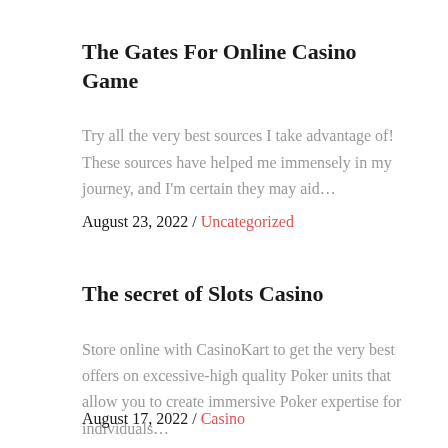The Gates For Online Casino Game
Try all the very best sources I take advantage of! These sources have helped me immensely in my journey, and I'm certain they may aid…
August 23, 2022 / Uncategorized
The secret of Slots Casino
Store online with CasinoKart to get the very best offers on excessive-high quality Poker units that allow you to create immersive Poker expertise for individuals…
August 17, 2022 / Casino